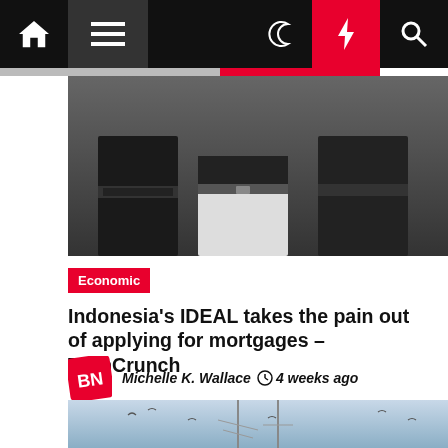Navigation bar with home, menu, moon, bolt, and search icons
[Figure (photo): Cropped photo of people from waist down, wearing dark and white clothing, standing against a dark background]
Economic
Indonesia's IDEAL takes the pain out of applying for mortgages – TechCrunch
Michelle K. Wallace  4 weeks ago
[Figure (photo): Photo of sailboats or fishing boats with masts against a light blue sky with birds]